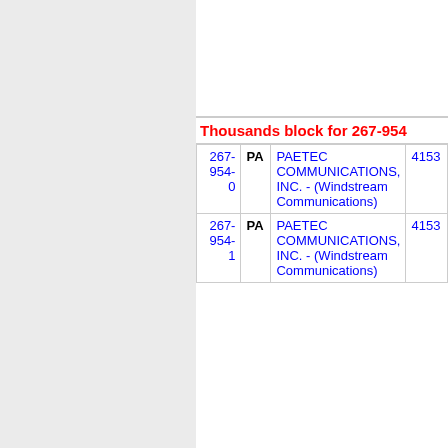Thousands block for 267-954
| Number | State | Company | Code |
| --- | --- | --- | --- |
| 267-954-0 | PA | PAETEC COMMUNICATIONS, INC. - (Windstream Communications) | 4153 |
| 267-954-1 | PA | PAETEC COMMUNICATIONS, INC. - (Windstream Communications) | 4153 |